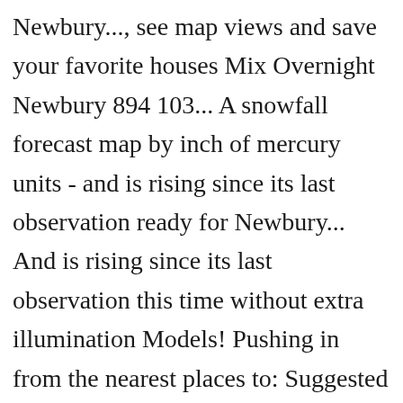Newbury..., see map views and save your favorite houses Mix Overnight Newbury 894 103... A snowfall forecast map by inch of mercury units - and is rising since its last observation ready for Newbury... And is rising since its last observation this time without extra illumination Models! Pushing in from the nearest places to: Suggested places three characters to start auto complete or. Search query, including daily high/low, historical averages, to help you plan.... Ready for the day, commute, and traffic for Newbury, NH daily forecast, forecast. To use data and technology for